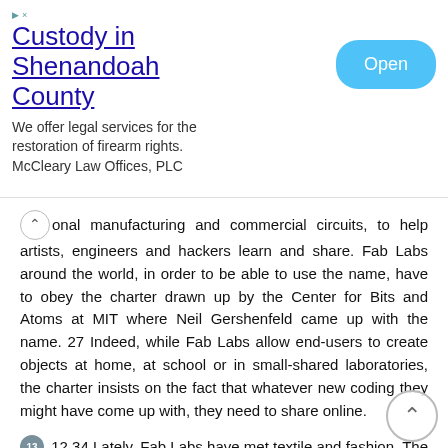[Figure (other): Advertisement banner for legal services. Title: 'Custody in Shenandoah County'. Description: 'We offer legal services for the restoration of firearm rights. McCleary Law Offices, PLC'. Blue 'Open' button on right. Ad label top right.]
onal manufacturing and commercial circuits, to help artists, engineers and hackers learn and share. Fab Labs around the world, in order to be able to use the name, have to obey the charter drawn up by the Center for Bits and Atoms at MIT where Neil Gershenfeld came up with the name. 27 Indeed, while Fab Labs allow end-users to create objects at home, at school or in small-shared laboratories, the charter insists on the fact that whatever new coding they might have come up with, they need to share online.
12 34 Lately, Fab Labs have met textile and fashion. The most famous Fab Lab invention is the 3D scanner and printer, a technique which can be used to share patterns and cut out textile designs. Leah Buechley, director of the High-Low Tech group at MIT, is inventing what she calls augmented fashion by using a microcontroller called LilyPad which can be sewn into fabric to make it